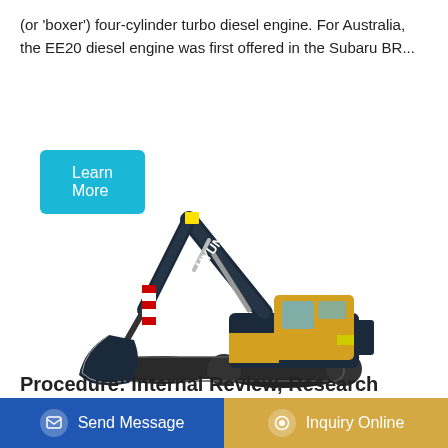(or 'boxer') four-cylinder turbo diesel engine. For Australia, the EE20 diesel engine was first offered in the Subaru BR...
[Figure (photo): Hyundai excavator with extended arm and bucket, dark blue body with yellow cab, on crawler tracks, on white background]
Procedure: Internal Review, Research
Send Message | Inquiry Online